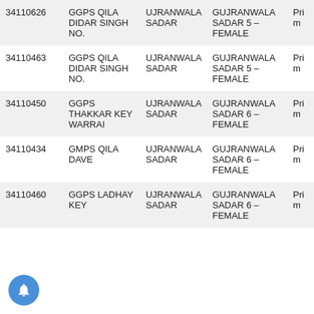| 34110626 | GGPS QILA DIDAR SINGH NO. | UJRANWALA SADAR | GUJRANWALA SADAR 5 – FEMALE | Prim |
| 34110463 | GGPS QILA DIDAR SINGH NO. | UJRANWALA SADAR | GUJRANWALA SADAR 5 – FEMALE | Prim |
| 34110450 | GGPS THAKKAR KEY WARRAI | UJRANWALA SADAR | GUJRANWALA SADAR 6 – FEMALE | Prim |
| 34110434 | GMPS QILA DAVE | UJRANWALA SADAR | GUJRANWALA SADAR 6 – FEMALE | Prim |
| 34110460 | GGPS LADHAY KEY | UJRANWALA SADAR | GUJRANWALA SADAR 6 – FEMALE | Prim |